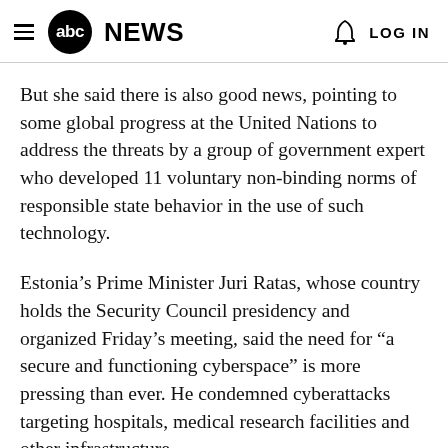abc NEWS  LOG IN
But she said there is also good news, pointing to some global progress at the United Nations to address the threats by a group of government expert who developed 11 voluntary non-binding norms of responsible state behavior in the use of such technology.
Estonia’s Prime Minister Juri Ratas, whose country holds the Security Council presidency and organized Friday’s meeting, said the need for “a secure and functioning cyberspace” is more pressing than ever. He condemned cyberattacks targeting hospitals, medical research facilities and other infrastructure,